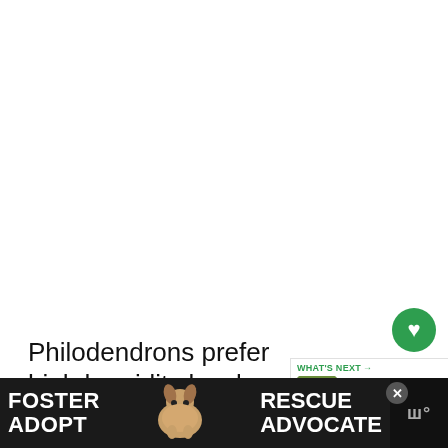[Figure (photo): Large blank white image area (photo of philodendron, mostly white/cropped out)]
Philodendrons prefer high humidity levels between 70 and 90%. Ho...
[Figure (infographic): What's Next panel with thumbnail image of Philodendron Leaves and label 'WHAT'S NEXT → Philodendron Leaves...']
S... to...
[Figure (photo): Advertisement banner: FOSTER ADOPT [dog photo] RESCUE ADVOCATE with close button and share icons]